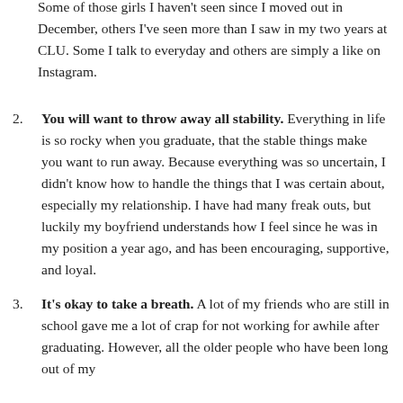Some of those girls I haven't seen since I moved out in December, others I've seen more than I saw in my two years at CLU. Some I talk to everyday and others are simply a like on Instagram.
You will want to throw away all stability. Everything in life is so rocky when you graduate, that the stable things make you want to run away. Because everything was so uncertain, I didn't know how to handle the things that I was certain about, especially my relationship. I have had many freak outs, but luckily my boyfriend understands how I feel since he was in my position a year ago, and has been encouraging, supportive, and loyal.
It's okay to take a breath. A lot of my friends who are still in school gave me a lot of crap for not working for awhile after graduating. However, all the older people who have been long out of my